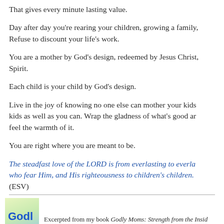That gives every minute lasting value.
Day after day you're rearing your children, growing a family, Refuse to discount your life's work.
You are a mother by God's design, redeemed by Jesus Christ, Spirit.
Each child is your child by God's design.
Live in the joy of knowing no one else can mother your kids as well as you can. Wrap the gladness of what's good around you and feel the warmth of it.
You are right where you are meant to be.
The steadfast love of the LORD is from everlasting to everlasting on those who fear Him, and His righteousness to children's children. (ESV)
Excerpted from my book Godly Moms: Strength from the Inside